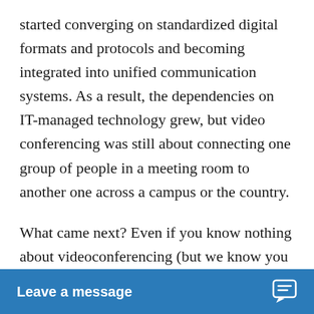started converging on standardized digital formats and protocols and becoming integrated into unified communication systems. As a result, the dependencies on IT-managed technology grew, but video conferencing was still about connecting one group of people in a meeting room to another one across a campus or the country.
What came next? Even if you know nothing about videoconferencing (but we know you do), you've heard of Zoom. To be fair, Zoom was long preceded by video meeting platforms like GoToMeeting, Skype, various Google products, and many others. These are or were cloud-based video conferencing platforms that democratized collaboration... with laptop or mobile devi...